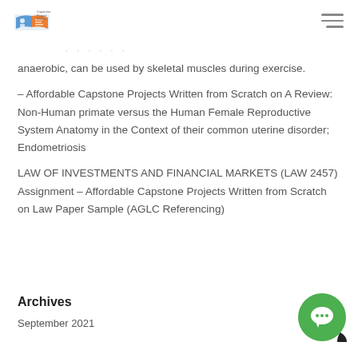Capstone Project Writers [logo] + hamburger menu
anaerobic, can be used by skeletal muscles during exercise.
– Affordable Capstone Projects Written from Scratch on A Review: Non-Human primate versus the Human Female Reproductive System Anatomy in the Context of their common uterine disorder; Endometriosis
LAW OF INVESTMENTS AND FINANCIAL MARKETS (LAW 2457) Assignment – Affordable Capstone Projects Written from Scratch on Law Paper Sample (AGLC Referencing)
Archives
September 2021